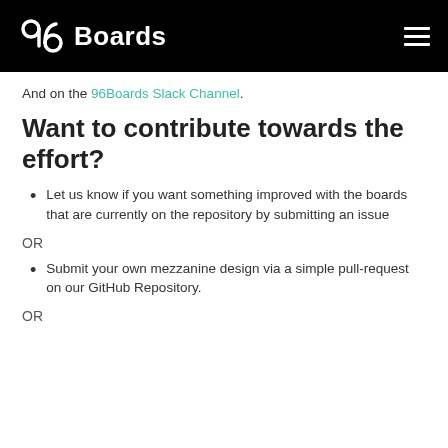96Boards
And on the 96Boards Slack Channel.
Want to contribute towards the effort?
Let us know if you want something improved with the boards that are currently on the repository by submitting an issue
OR
Submit your own mezzanine design via a simple pull-request on our GitHub Repository.
OR